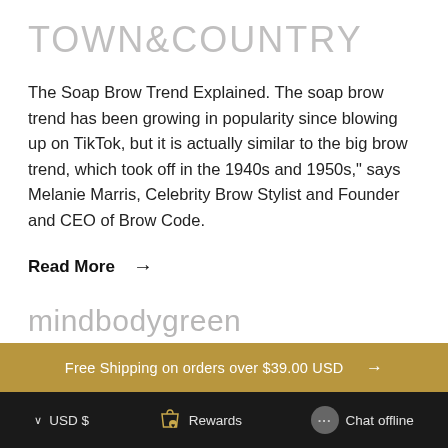[Figure (logo): TOWN&COUNTRY logo in light gray thin letters]
The Soap Brow Trend Explained. The soap brow trend has been growing in popularity since blowing up on TikTok, but it is actually similar to the big brow trend, which took off in the 1940s and 1950s," says Melanie Marris, Celebrity Brow Stylist and Founder and CEO of Brow Code.
Read More →
[Figure (logo): mindbodygreen logo in light gray thin letters]
Free Shipping on orders over $39.00 USD →
USD $   Rewards   Chat offline